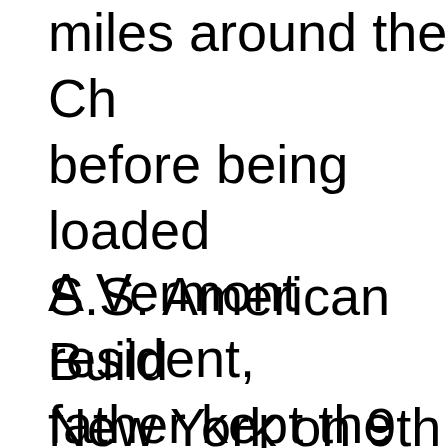miles around the Ch before being loaded S.S. American Build New York on 9th Oc
A Vermont resident, father kept the Ford until the mid-1980s had covered most o